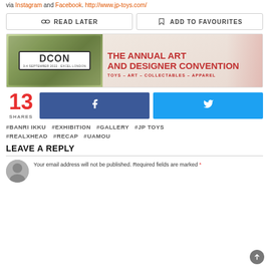via Instagram and Facebook. http://www.jp-toys.com/
[Figure (screenshot): Two buttons: READ LATER and ADD TO FAVOURITES]
[Figure (illustration): DCon banner - The Annual Art and Designer Convention, Toys - Art - Collectables - Apparel, 3-4 September 2022 - Excel London]
[Figure (infographic): 13 SHARES with Facebook and Twitter share buttons]
#BANRI IKKU #EXHIBITION #GALLERY #JP TOYS #REALXHEAD #RECAP #UAMOU
LEAVE A REPLY
Your email address will not be published. Required fields are marked *